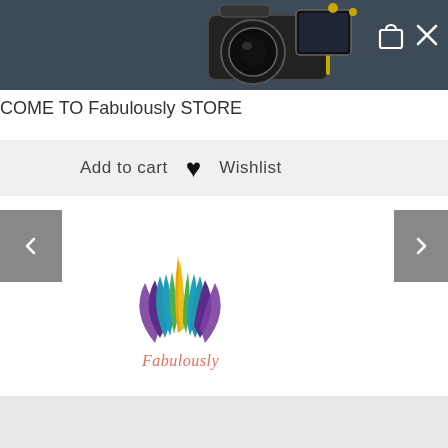[Figure (screenshot): E-commerce website header with dark blue-gray background showing camera equipment image on the right side, shopping bag icon and X close button]
COME TO Fabulously STORE
Add to cart ♥ Wishlist
[Figure (logo): Fabulously store logo with colorful lotus/peacock feather design in blue, green, purple, and gold colors with script text 'Fabulously' below]
English
Style